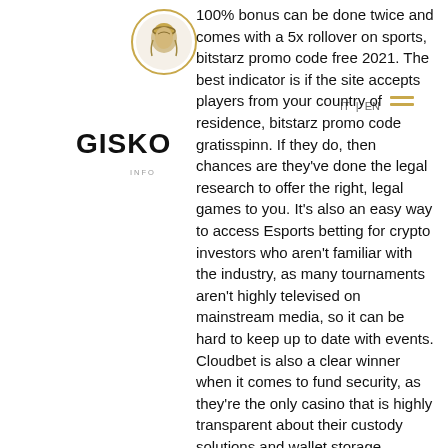[Figure (logo): Circular logo with a face/head profile illustration, gold/brown tones]
GISKO
IT | EN
100% bonus can be done twice and comes with a 5x rollover on sports, bitstarz promo code free 2021. The best indicator is if the site accepts players from your country of residence, bitstarz promo code gratisspinn. If they do, then chances are they've done the legal research to offer the right, legal games to you. It's also an easy way to access Esports betting for crypto investors who aren't familiar with the industry, as many tournaments aren't highly televised on mainstream media, so it can be hard to keep up to date with events. Cloudbet is also a clear winner when it comes to fund security, as they're the only casino that is highly transparent about their custody solutions and wallet storage, bitstarz promo code gratissnurr. When you play with Bitcoin, you get anonymity, bitstarz promo code 2020. This means that not in a single place will your name appear, well unless you use your